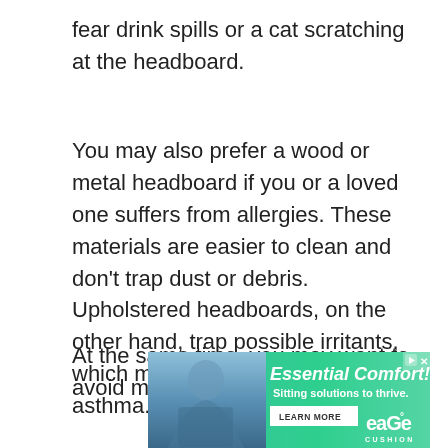fear drink spills or a cat scratching at the headboard.
You may also prefer a wood or metal headboard if you or a loved one suffers from allergies. These materials are easier to clean and don't trap dust or debris. Upholstered headboards, on the other hand, trap possible irritants, which may exacerbate allergies or asthma.
At the same time, you may want to avoid metal
[Figure (other): Advertisement banner for Ease Cushion - 'Essential Comfort! Sitting solutions to thrive.' with a LEARN MORE button and an image of a person on the left side.]